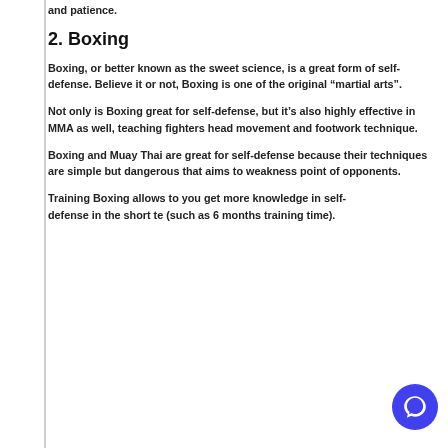and patience.
2. Boxing
Boxing, or better known as the sweet science, is a great form of self-defense. Believe it or not, Boxing is one of the original “martial arts”.
Not only is Boxing great for self-defense, but it’s also highly effective in MMA as well, teaching fighters head movement and footwork technique.
Boxing and Muay Thai are great for self-defense because their techniques are simple but dangerous that aims to weakness point of opponents.
Training Boxing allows to you get more knowledge in self-defense in the short te (such as 6 months training time).